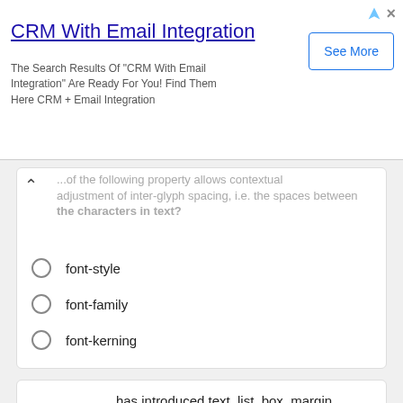[Figure (other): CRM With Email Integration advertisement banner with See More button]
...of the following property allows contextual adjustment of inter-glyph spacing, i.e. the spaces between the characters in text?
font-style
font-family
font-kerning
font-variant
___________ has introduced text, list, box, margin, border, color, and background properties.
css
html